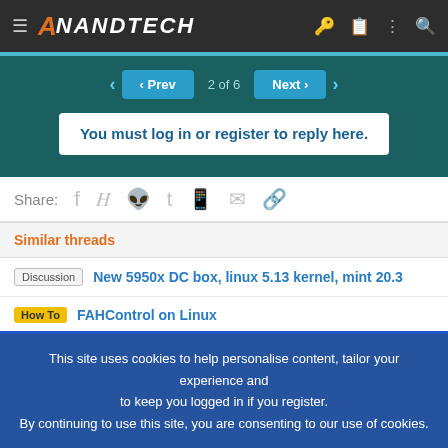AnandTech
You must log in or register to reply here.
Share:
Similar threads
Discussion — New 5950x DC box, linux 5.13 kernel, mint 20.3
How To — FAHControl on Linux
This site uses cookies to help personalise content, tailor your experience and to keep you logged in if you register.
By continuing to use this site, you are consenting to our use of cookies.